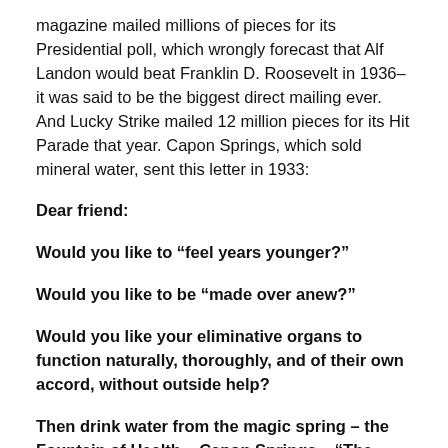magazine mailed millions of pieces for its Presidential poll, which wrongly forecast that Alf Landon would beat Franklin D. Roosevelt in 1936–it was said to be the biggest direct mailing ever. And Lucky Strike mailed 12 million pieces for its Hit Parade that year. Capon Springs, which sold mineral water, sent this letter in 1933:
Dear friend:
Would you like to “feel years younger?”
Would you like to be “made over anew?”
Would you like your eliminative organs to function naturally, thoroughly, and of their own accord, without outside help?
Then drink water from the magic spring – the Fountain of Health – Capon Springs – “The most delicious water I